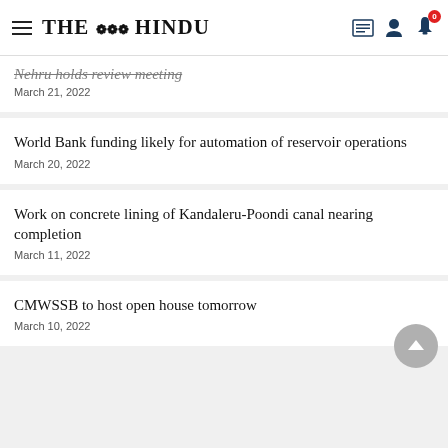THE HINDU
Nehru holds review meeting
March 21, 2022
World Bank funding likely for automation of reservoir operations
March 20, 2022
Work on concrete lining of Kandaleru-Poondi canal nearing completion
March 11, 2022
CMWSSB to host open house tomorrow
March 10, 2022